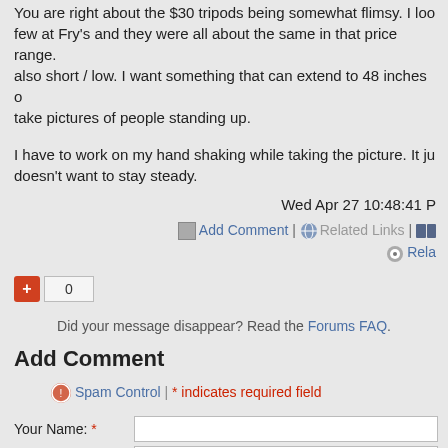You are right about the $30 tripods being somewhat flimsy. I looked at a few at Fry's and they were all about the same in that price range. They are also short / low. I want something that can extend to 48 inches or more to take pictures of people standing up.
I have to work on my hand shaking while taking the picture. It just doesn't want to stay steady.
Wed Apr 27 10:48:41 P
Add Comment | Related Links | Rela
0
Did your message disappear? Read the Forums FAQ.
Add Comment
Spam Control | * indicates required field
Your Name: *
E-mail:
Remember Me!